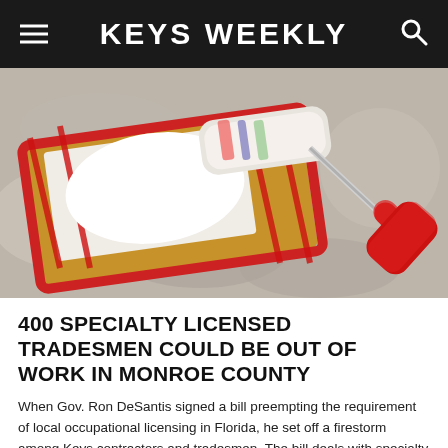KEYS WEEKLY
[Figure (photo): A paint roller with a red handle resting in a paint tray filled with white paint, sitting on a textured concrete surface. The tray also has red paint on its sides.]
400 SPECIALTY LICENSED TRADESMEN COULD BE OUT OF WORK IN MONROE COUNTY
When Gov. Ron DeSantis signed a bill preempting the requirement of local occupational licensing in Florida, he set off a firestorm among Keys contractors and tradesmen. The bill deals with specialty licenses for people who paint buildings, or put down pavers and even landscapers — not general contractors